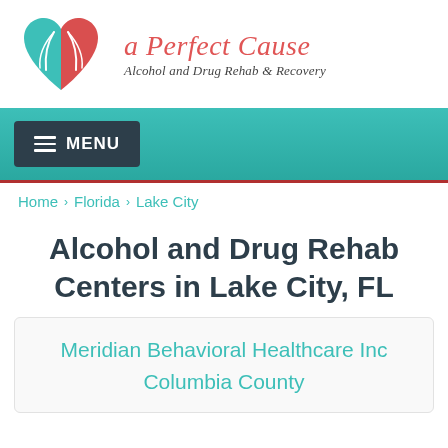[Figure (logo): A Perfect Cause logo with a heart shape split into teal and red halves with leaf/hand motif]
a Perfect Cause
Alcohol and Drug Rehab & Recovery
MENU
Home › Florida › Lake City
Alcohol and Drug Rehab Centers in Lake City, FL
Meridian Behavioral Healthcare Inc
Columbia County